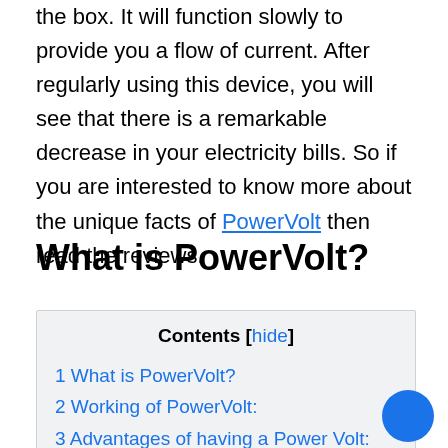the box. It will function slowly to provide you a flow of current. After regularly using this device, you will see that there is a remarkable decrease in your electricity bills. So if you are interested to know more about the unique facts of PowerVolt then read the reviews.
What is PowerVolt?
| Contents [hide] |
| --- |
| 1 What is PowerVolt? |
| 2 Working of PowerVolt: |
| 3 Advantages of having a Power Volt: |
| 4 How to use Power Volt? |